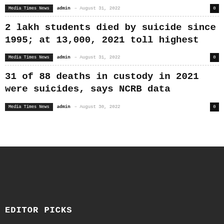Media Times News  admin  August 31, 2022  0
2 lakh students died by suicide since 1995; at 13,000, 2021 toll highest
Media Times News  admin  August 31, 2022  0
31 of 88 deaths in custody in 2021 were suicides, says NCRB data
Media Times News  admin  August 30, 2022  0
EDITOR PICKS